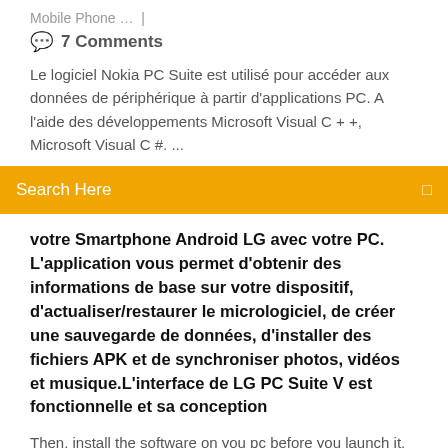Mobile Phone ...  |
🗨 7 Comments
Le logiciel Nokia PC Suite est utilisé pour accéder aux données de périphérique à partir d'applications PC. A l'aide des développements Microsoft Visual C + +, Microsoft Visual C #. ...
Search Here
votre Smartphone Android LG avec votre PC. L'application vous permet d'obtenir des informations de base sur votre dispositif, d'actualiser/restaurer le micrologiciel, de créer une sauvegarde de données, d'installer des fichiers APK et de synchroniser photos, vidéos et musique.L'interface de LG PC Suite V est fonctionnelle et sa conception
Then, install the software on you pc before you launch it. The two versions are as follows, and you can download one of them by clicking it. Perform LG PC Suite Alternative Software on